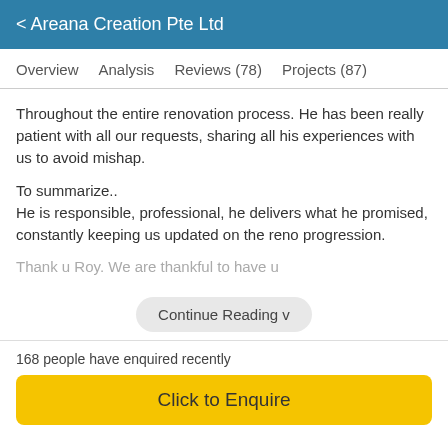< Areana Creation Pte Ltd
Overview   Analysis   Reviews (78)   Projects (87)
Throughout the entire renovation process. He has been really patient with all our requests, sharing all his experiences with us to avoid mishap.

To summarize..
He is responsible, professional, he delivers what he promised, constantly keeping us updated on the reno progression.
Thank u Roy. We are thankful to have u
Continue Reading v
168 people have enquired recently
Click to Enquire